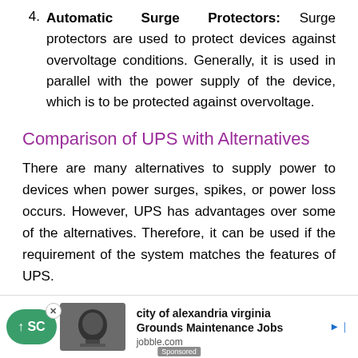4. Automatic Surge Protectors: Surge protectors are used to protect devices against overvoltage conditions. Generally, it is used in parallel with the power supply of the device, which is to be protected against overvoltage.
Comparison of UPS with Alternatives
There are many alternatives to supply power to devices when power surges, spikes, or power loss occurs. However, UPS has advantages over some of the alternatives. Therefore, it can be used if the requirement of the system matches the features of UPS.
[Figure (infographic): Advertisement banner at bottom of page: Green scroll-up button with 'SC' text, an image of a device, a close button (x), 'Sponsored' label, and text reading 'city of alexandria virginia Grounds Maintenance Jobs' with jobble.com source and ad indicator.]